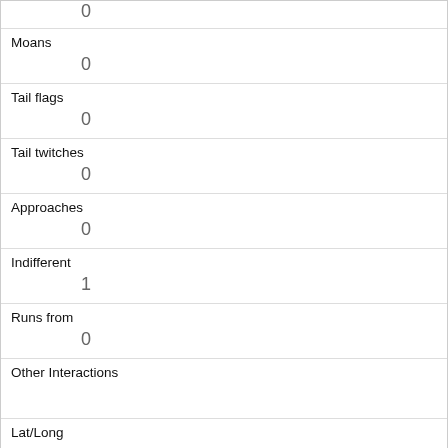| Moans | 0 |
| Tail flags | 0 |
| Tail twitches | 0 |
| Approaches | 0 |
| Indifferent | 1 |
| Runs from | 0 |
| Other Interactions |  |
| Lat/Long | POINT (-73.975086415444 40.7671990131313) |
| Link | 895 |
| rowid |  |